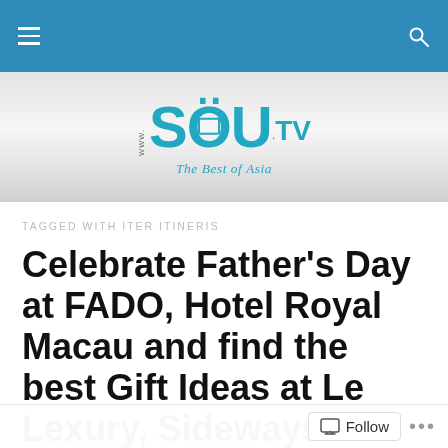www.SOU.tv — The Best of Asia (navigation bar with hamburger menu and search icon)
[Figure (logo): www.SOU.tv logo with teal lettering and 'The Best of Asia' tagline on silver gradient background]
TAGGED WITH ITER ITINERIS
Celebrate Father's Day at FADO, Hotel Royal Macau and find the best Gift Ideas at Le Lexury, Sideways Driving Club, Edible Arrangements and Iter...